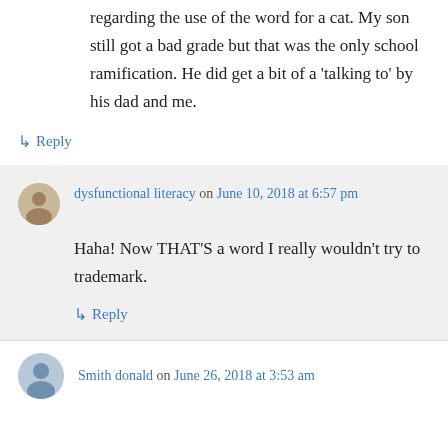regarding the use of the word for a cat. My son still got a bad grade but that was the only school ramification. He did get a bit of a ‘talking to’ by his dad and me.
↳ Reply
dysfunctional literacy on June 10, 2018 at 6:57 pm
Haha! Now THAT’S a word I really wouldn’t try to trademark.
↳ Reply
Smith donald on June 26, 2018 at 3:53 am